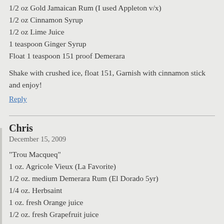1/2 oz Gold Jamaican Rum (I used Appleton v/x)
1/2 oz Cinnamon Syrup
1/2 oz Lime Juice
1 teaspoon Ginger Syrup
Float 1 teaspoon 151 proof Demerara
Shake with crushed ice, float 151, Garnish with cinnamon stick and enjoy!
Reply
Chris
December 15, 2009
“Trou Macqueq”
1 oz. Agricole Vieux (La Favorite)
1/2 oz. medium Demerara Rum (El Dorado 5yr)
1/4 oz. Herbsaint
1 oz. fresh Orange juice
1/2 oz. fresh Grapefruit juice
2 Tsp. Hibiscus Grenadine
1/4 oz. Cinnamon syrup
2d Fee’s Peach bitters
1d Fee’s WBA bitters